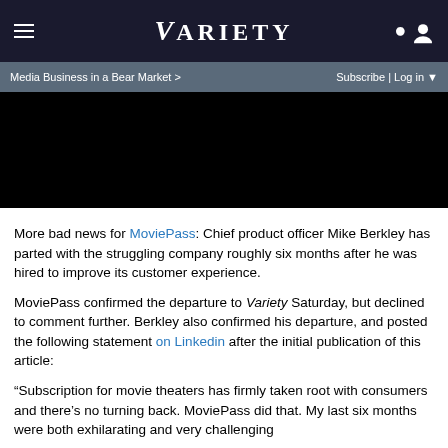VARIETY
Media Business in a Bear Market >    Subscribe | Log in
[Figure (photo): Black video player area]
More bad news for MoviePass: Chief product officer Mike Berkley has parted with the struggling company roughly six months after he was hired to improve its customer experience.
MoviePass confirmed the departure to Variety Saturday, but declined to comment further. Berkley also confirmed his departure, and posted the following statement on Linkedin after the initial publication of this article:
“Subscription for movie theaters has firmly taken root with consumers and there’s no turning back. MoviePass did that. My last six months were both exhilarating and very challenging